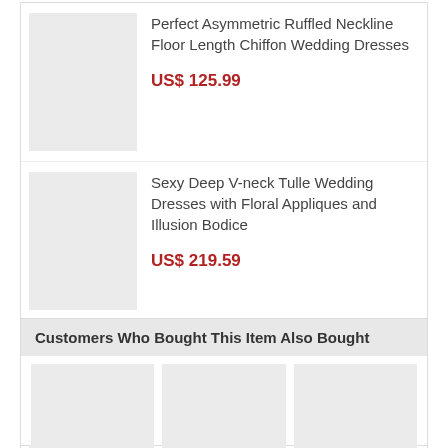Perfect Asymmetric Ruffled Neckline Floor Length Chiffon Wedding Dresses
US$ 125.99
Sexy Deep V-neck Tulle Wedding Dresses with Floral Appliques and Illusion Bodice
US$ 219.59
Sexy Low Back Satin Wedding Dresses with Beaded Spaghetti Straps and Neck
US$ 149.99
Customers Who Bought This Item Also Bought
[Figure (photo): Three placeholder product image thumbnails for 'Customers Who Bought This Item Also Bought' section]